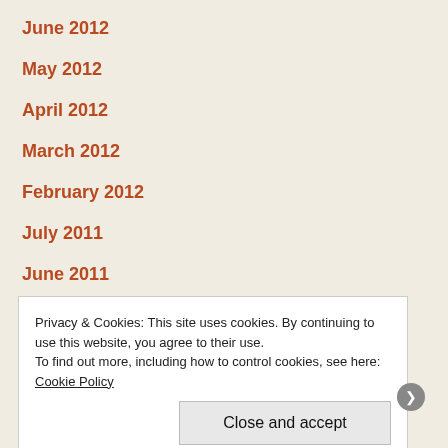June 2012
May 2012
April 2012
March 2012
February 2012
July 2011
June 2011
Advertisements
[Figure (other): Dark advertisement banner showing sensei logo on black background]
Privacy & Cookies: This site uses cookies. By continuing to use this website, you agree to their use. To find out more, including how to control cookies, see here: Cookie Policy
Close and accept